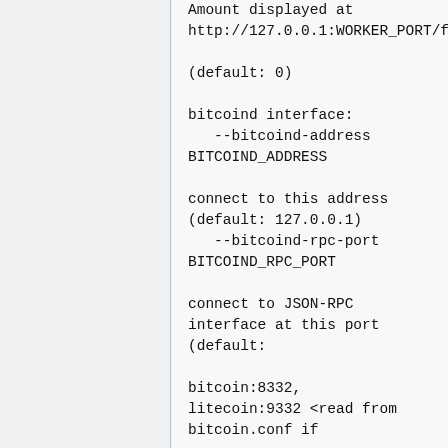Amount displayed at http://127.0.0.1:WORKER_PORT/fe

(default: 0)

bitcoind interface:
   --bitcoind-address BITCOIND_ADDRESS

connect to this address (default: 127.0.0.1)
   --bitcoind-rpc-port BITCOIND_RPC_PORT

connect to JSON-RPC interface at this port (default:

bitcoin:8332, litecoin:9332 <read from bitcoin.conf if

password not provided>)
   --bitcoind-...